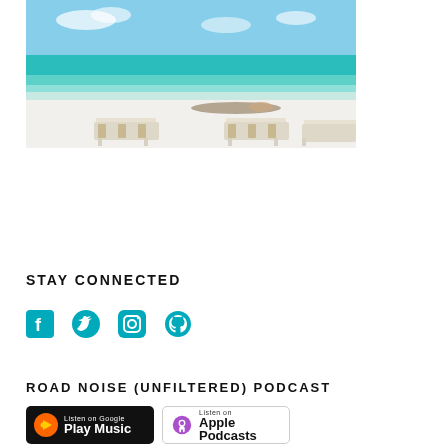[Figure (photo): Beach scene with white sand, turquoise ocean water, blue sky with light clouds, and white lounge chairs with striped cushions on the beach. A person lying on the beach is visible in the background.]
STAY CONNECTED
[Figure (infographic): Social media icons: Facebook, Twitter, Instagram, and GitHub — all in teal/cyan color]
ROAD NOISE (UNFILTERED) PODCAST
[Figure (infographic): Two podcast badges: 'Listen on Google Play Music' (dark badge) and 'Listen on Apple Podcasts' (light badge with border)]